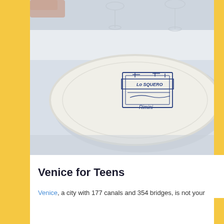[Figure (photo): Close-up photograph of a white decorative plate on a white tablecloth, with wine glasses in the background. The plate features a blue illustration of a building or landmark with text reading 'Lo SQUERO' and 'Rimini'. A hand is partially visible at the top left.]
Venice for Teens
Venice, a city with 177 canals and 354 bridges, is not your